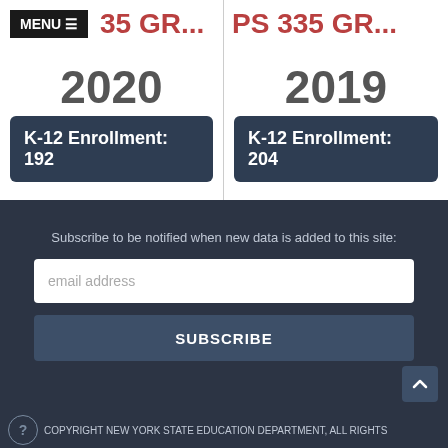MENU
PS 335 GR...
2020
K-12 Enrollment: 192
PS 335 GR...
2019
K-12 Enrollment: 204
Subscribe to be notified when new data is added to this site:
email address
SUBSCRIBE
COPYRIGHT NEW YORK STATE EDUCATION DEPARTMENT, ALL RIGHTS